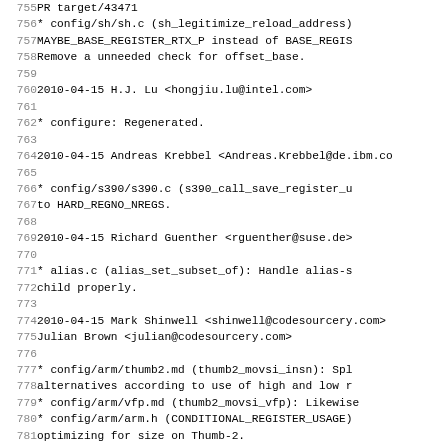Source code / changelog listing, lines 755–786, showing GCC changelog entries for 2010-04-15 with contributor names, email addresses, and file modification descriptions.